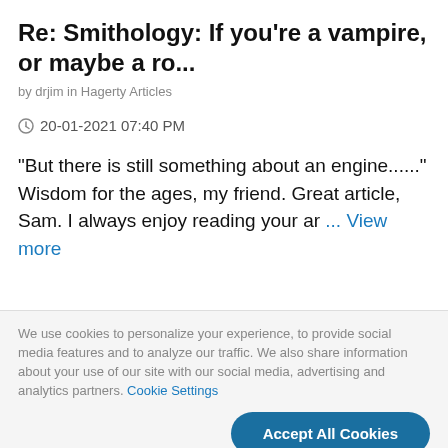Re: Smithology: If you're a vampire, or maybe a ro...
by drjim in Hagerty Articles
20-01-2021 07:40 PM
"But there is still something about an engine......" Wisdom for the ages, my friend. Great article, Sam. I always enjoy reading your ar ... View more
We use cookies to personalize your experience, to provide social media features and to analyze our traffic. We also share information about your use of our site with our social media, advertising and analytics partners. Cookie Settings
Accept All Cookies